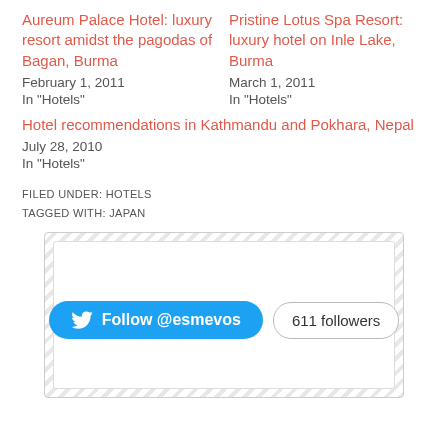Aureum Palace Hotel: luxury resort amidst the pagodas of Bagan, Burma
February 1, 2011
In "Hotels"
Pristine Lotus Spa Resort: luxury hotel on Inle Lake, Burma
March 1, 2011
In "Hotels"
Hotel recommendations in Kathmandu and Pokhara, Nepal
July 28, 2010
In "Hotels"
FILED UNDER: HOTELS
TAGGED WITH: JAPAN
[Figure (screenshot): Twitter Follow button widget showing 'Follow @esmevos' blue button and '611 followers' pill button on white background within a hatched border box]